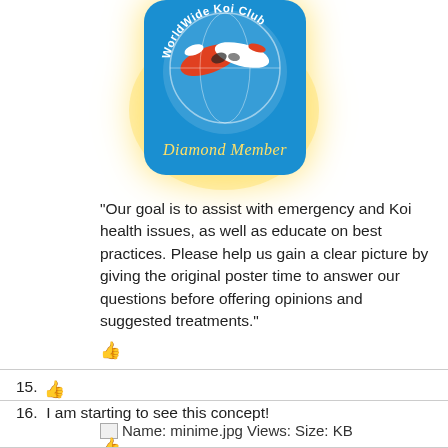[Figure (logo): Worldwide Koi Club Diamond Member badge/logo — circular badge with koi fish and globe motif on blue background with gold text 'Worldwide Koi Club' and script text 'Diamond Member', with yellow glow background.]
"Our goal is to assist with emergency and Koi health issues, as well as educate on best practices. Please help us gain a clear picture by giving the original poster time to answer our questions before offering opinions and suggested treatments."
15. [like icon]
16. I am starting to see this concept!
[Figure (photo): Broken image placeholder. Name: minime.jpg Views: Size: KB]
[like icon]